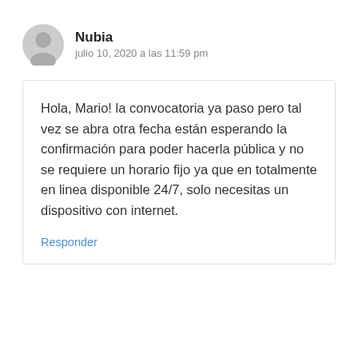[Figure (illustration): Gray circular avatar icon with a silhouette of a person]
Nubia
julio 10, 2020 a las 11:59 pm
Hola, Mario! la convocatoria ya paso pero tal vez se abra otra fecha están esperando la confirmación para poder hacerla pública y no se requiere un horario fijo ya que en totalmente en linea disponible 24/7, solo necesitas un dispositivo con internet.
Responder